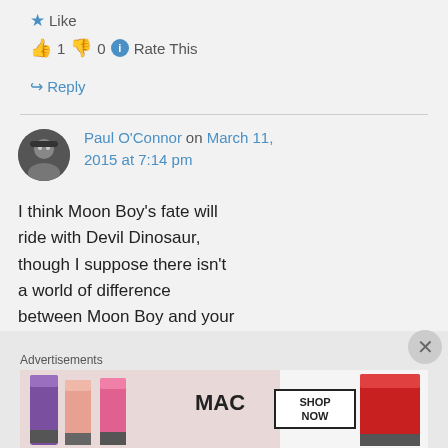★ Like
👍 1 👎 0 ℹ Rate This
↪ Reply
Paul O'Connor on March 11, 2015 at 7:14 pm
I think Moon Boy's fate will ride with Devil Dinosaur, though I suppose there isn't a world of difference between Moon Boy and your
Advertisements
[Figure (photo): MAC cosmetics advertisement showing lipsticks in purple, pink, and red with SHOP NOW text]